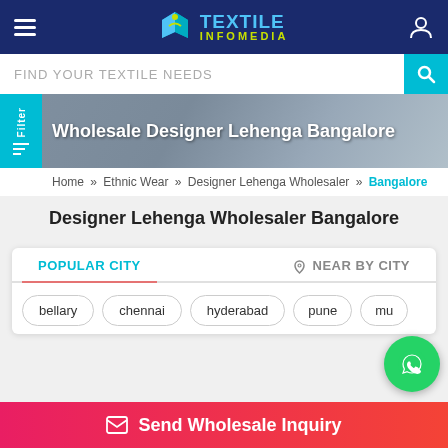Textile Infomedia
FIND YOUR TEXTILE NEEDS
Wholesale Designer Lehenga Bangalore
Home » Ethnic Wear » Designer Lehenga Wholesaler » Bangalore
Designer Lehenga Wholesaler Bangalore
POPULAR CITY | NEAR BY CITY
bellary
chennai
hyderabad
pune
mum...
Send Wholesale Inquiry